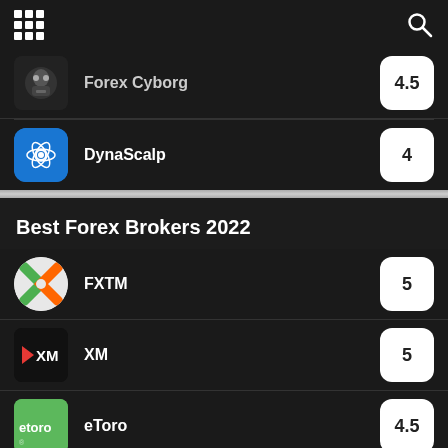Navigation bar with grid menu and search icon
Forex Cyborg — 4.5
DynaScalp — 4
Best Forex Brokers 2022
FXTM — 5
XM — 5
eToro — 4.5
Pepperstone — 4.5